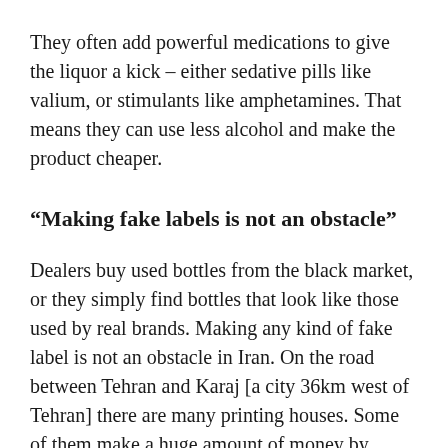They often add powerful medications to give the liquor a kick – either sedative pills like valium, or stimulants like amphetamines. That means they can use less alcohol and make the product cheaper.
“Making fake labels is not an obstacle”
Dealers buy used bottles from the black market, or they simply find bottles that look like those used by real brands. Making any kind of fake label is not an obstacle in Iran. On the road between Tehran and Karaj [a city 36km west of Tehran] there are many printing houses. Some of them make a huge amount of money by printing fake labels for many different products: fake brand-name dresses, spare parts for cars... and brand-name liquors.